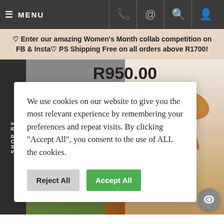≡ MENU
♡ Enter our amazing Women's Month collab competition on FB & Insta♡ PS Shipping Free on all orders above R1700!
R950.00
SHOP BY
We use cookies on our website to give you the most relevant experience by remembering your preferences and repeat visits. By clicking "Accept All", you consent to the use of ALL the cookies.
Reject All
Accept All